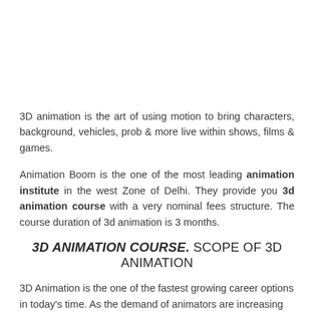3D animation is the art of using motion to bring characters, background, vehicles, prob & more live within shows, films & games.
Animation Boom is the one of the most leading animation institute in the west Zone of Delhi. They provide you 3d animation course with a very nominal fees structure. The course duration of 3d animation is 3 months.
3D ANIMATION COURSE. SCOPE OF 3D ANIMATION
3D Animation is the one of the fastest growing career options in today's time. As the demand of animators are increasing rapidly.